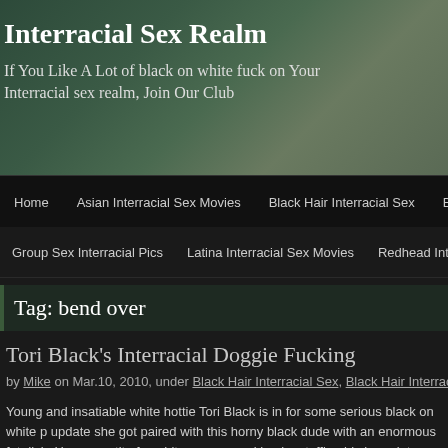Interracial Sex Realm
If You Like A Lot of black on white fuck on Your Interracial sex realm, Join Our Club
Home | Asian Interracial Sex Movies | Black Hair Interracial Sex | Blonde...
Group Sex Interracial Pics | Latina Interracial Sex Movies | Redhead Interracia...
Tag: bend over
Tori Black's Interracial Doggie Fucking
by Mike on Mar.10, 2010, under Black Hair Interracial Sex, Black Hair Interracial S...
Young and insatiable white hottie Tori Black is in for some serious black on white p... update she got paired with this horny black dude with an enormous fat dick. Here appetite for white pussy wrecking by stuffing his bone into Tori’s mouth making he of it by slobbering it and cramming it down her throat. Not long after that he gave T pleasuring by making her bend over and crammed it into her pussy slit.